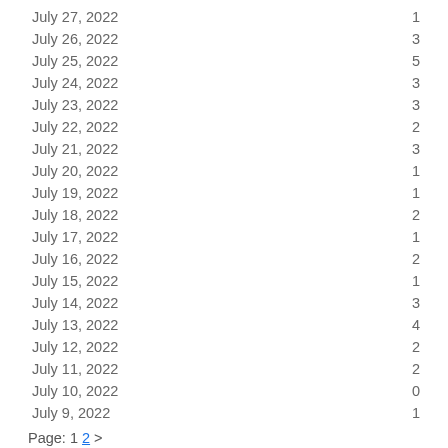July 27, 2022  1
July 26, 2022  3
July 25, 2022  5
July 24, 2022  3
July 23, 2022  3
July 22, 2022  2
July 21, 2022  3
July 20, 2022  1
July 19, 2022  1
July 18, 2022  2
July 17, 2022  1
July 16, 2022  2
July 15, 2022  1
July 14, 2022  3
July 13, 2022  4
July 12, 2022  2
July 11, 2022  2
July 10, 2022  0
July 9, 2022  1
Page: 1 2 >